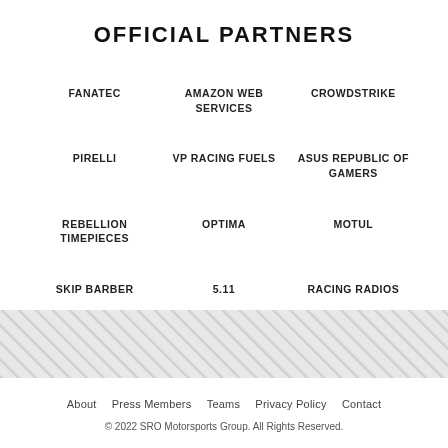OFFICIAL PARTNERS
FANATEC
AMAZON WEB SERVICES
CROWDSTRIKE
PIRELLI
VP RACING FUELS
ASUS REPUBLIC OF GAMERS
REBELLION TIMEPIECES
OPTIMA
MOTUL
SKIP BARBER
5.11
RACING RADIOS
About  Press Members  Teams  Privacy Policy  Contact
© 2022 SRO Motorsports Group. All Rights Reserved.